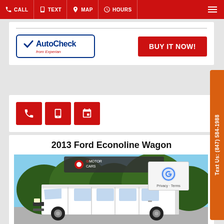CALL  TEXT  MAP  HOURS
[Figure (logo): AutoCheck from Experian logo with blue checkmark and border]
[Figure (other): BUY IT NOW! red button]
[Figure (other): Three red icon buttons: phone, mobile, calendar]
2013 Ford Econoline Wagon
[Figure (photo): White 2013 Ford Econoline Wagon van photographed outdoors with trees in background, GMotorCars watermark overlay at top]
[Figure (other): reCAPTCHA widget overlay with Privacy and Terms links]
Text Us: (847) 584-1988